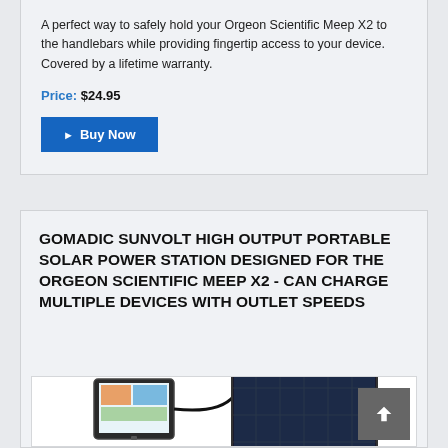A perfect way to safely hold your Orgeon Scientific Meep X2 to the handlebars while providing fingertip access to your device. Covered by a lifetime warranty.
Price: $24.95
Buy Now
GOMADIC SUNVOLT HIGH OUTPUT PORTABLE SOLAR POWER STATION DESIGNED FOR THE ORGEON SCIENTIFIC MEEP X2 - CAN CHARGE MULTIPLE DEVICES WITH OUTLET SPEEDS
[Figure (photo): Photo of a solar panel charger connected to an Orgeon Scientific Meep X2 device]